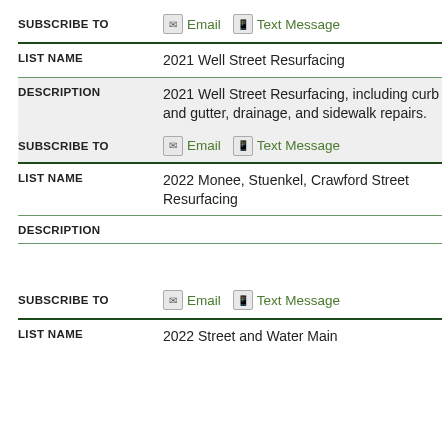SUBSCRIBE TO  Email  Text Message
| FIELD | VALUE |
| --- | --- |
| LIST NAME | 2021 Well Street Resurfacing |
| DESCRIPTION | 2021 Well Street Resurfacing, including curb and gutter, drainage, and sidewalk repairs. |
SUBSCRIBE TO  Email  Text Message
| FIELD | VALUE |
| --- | --- |
| LIST NAME | 2022 Monee, Stuenkel, Crawford Street Resurfacing |
| DESCRIPTION |  |
SUBSCRIBE TO  Email  Text Message
LIST NAME  2022 Street and Water Main